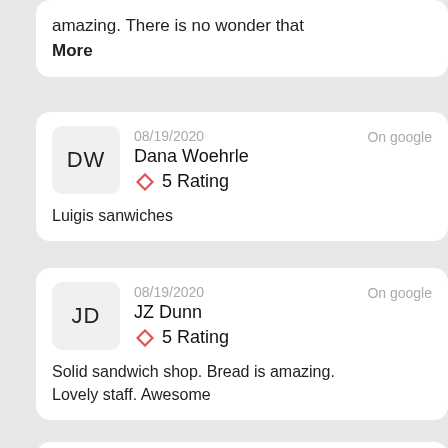amazing. There is no wonder that More
08/19/2020  On google
Dana Woehrle
5 Rating
Luigis sanwiches
08/19/2020  On google
JZ Dunn
5 Rating
Solid sandwich shop. Bread is amazing. Lovely staff. Awesome
08/19/2020  On google
kenny cummins